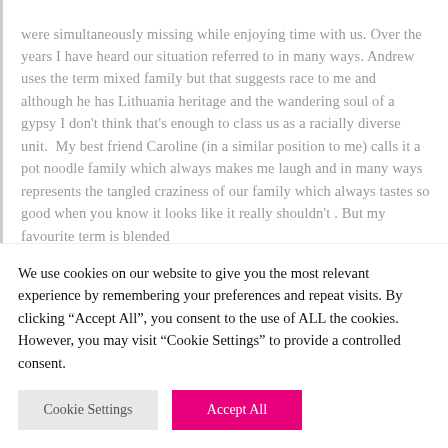were simultaneously missing while enjoying time with us. Over the years I have heard our situation referred to in many ways. Andrew uses the term mixed family but that suggests race to me and although he has Lithuania heritage and the wandering soul of a gypsy I don't think that's enough to class us as a racially diverse unit.  My best friend Caroline (in a similar position to me) calls it a pot noodle family which always makes me laugh and in many ways represents the tangled craziness of our family which always tastes so good when you know it looks like it really shouldn't . But my favourite term is blended
We use cookies on our website to give you the most relevant experience by remembering your preferences and repeat visits. By clicking "Accept All", you consent to the use of ALL the cookies. However, you may visit "Cookie Settings" to provide a controlled consent.